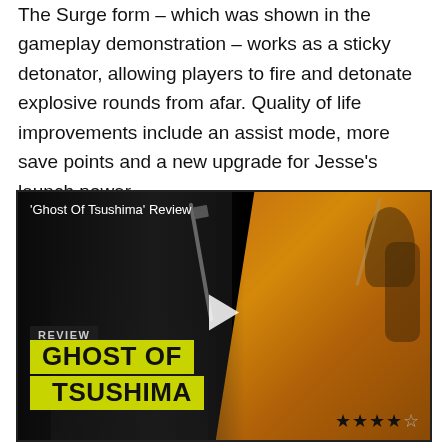The Surge form – which was shown in the gameplay demonstration – works as a sticky detonator, allowing players to fire and detonate explosive rounds from afar. Quality of life improvements include an assist mode, more save points and a new upgrade for Jesse's launch power.
[Figure (screenshot): Video thumbnail for 'Ghost Of Tsushima' Review. Shows a split image: left side dark/monochrome with a sword silhouette, right side warm orange-toned with a warrior figure. Overlaid text shows 'REVIEW' label, 'GHOST OF TSUSHIMA' in bold on yellow banner, a play button, and 4-star rating (4 out of 5 stars).]